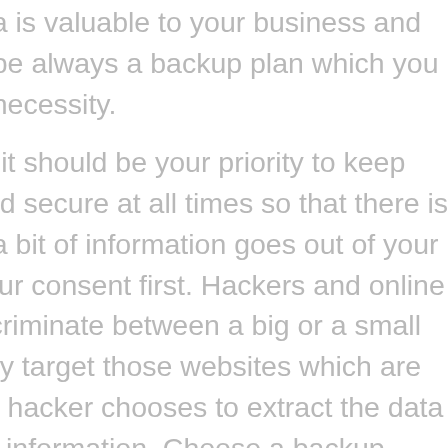ata is valuable to your business and d be always a backup plan which you n necessity. er it should be your priority to keep and secure at all times so that there is n a bit of information goes out of your your consent first. Hackers and online iscriminate between a big or a small hey target those websites which are ne hacker chooses to extract the data ve information. Choose a backup proven, reliable, fast and scalable so ays one step ahead in times of critical with R1soft offers an affordable server